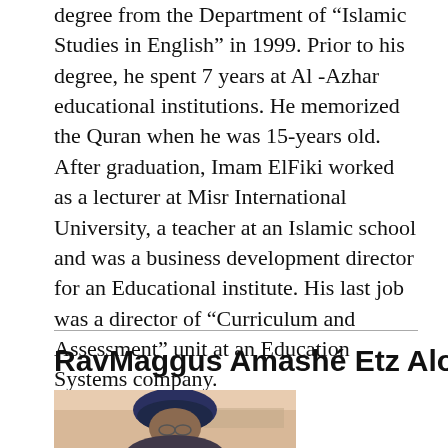degree from the Department of "Islamic Studies in English" in 1999. Prior to his degree, he spent 7 years at Al -Azhar educational institutions. He memorized the Quran when he was 15-years old. After graduation, Imam ElFiki worked as a lecturer at Misr International University, a teacher at an Islamic school and was a business development director for an Educational institute. His last job was a director of "Curriculum and Assessment" unit at an Education Systems company.
RavMaggus Amashé Etz Alon
[Figure (photo): Portrait photo of a person wearing a dark blue turban, outdoors with a light sky background]